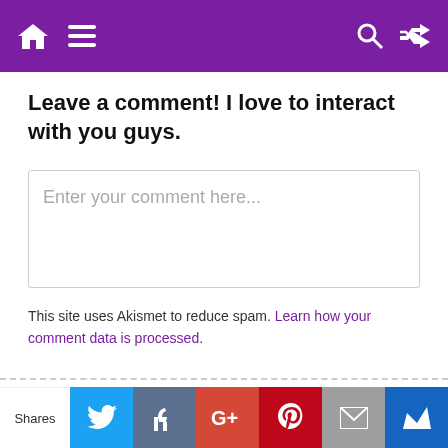BlogMagazine navigation header with home, menu, search, and shuffle icons
Leave a comment! I love to interact with you guys.
[Figure (screenshot): Comment text input box with placeholder text 'Enter your comment here...']
This site uses Akismet to reduce spam. Learn how your comment data is processed.
BlogMagazine | Theme: BlogMagazine by Dinesh Ghimire.
[Figure (infographic): Social share bar with Shares label, Twitter, Facebook, Google+, Pinterest, Email, and crown icon buttons]